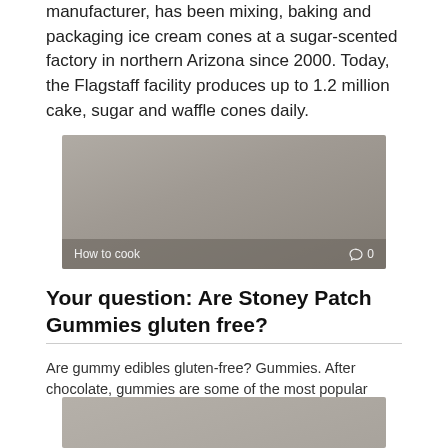manufacturer, has been mixing, baking and packaging ice cream cones at a sugar-scented factory in northern Arizona since 2000. Today, the Flagstaff facility produces up to 1.2 million cake, sugar and waffle cones daily.
[Figure (photo): Image placeholder with 'How to cook' label and comment count '0' overlaid on lower bar]
Your question: Are Stoney Patch Gummies gluten free?
Are gummy edibles gluten-free? Gummies. After chocolate, gummies are some of the most popular
[Figure (photo): Partial image placeholder at bottom of page]